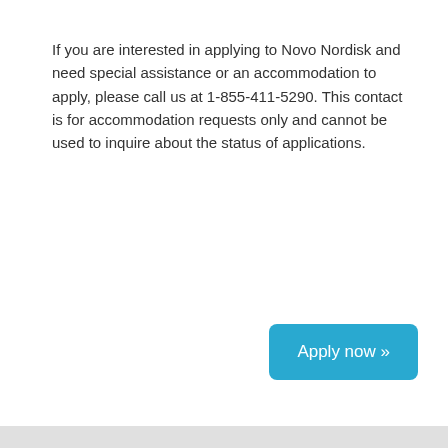If you are interested in applying to Novo Nordisk and need special assistance or an accommodation to apply, please call us at 1-855-411-5290. This contact is for accommodation requests only and cannot be used to inquire about the status of applications.
Apply now »